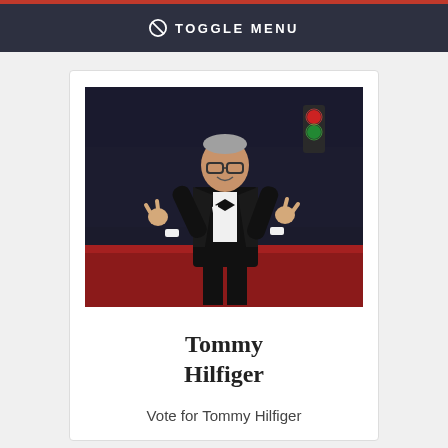TOGGLE MENU
[Figure (photo): Tommy Hilfiger in a black tuxedo with bow tie, posing on a red carpet, smiling and making hand gestures, dark background with green and red lights visible]
Tommy Hilfiger
Vote for Tommy Hilfiger